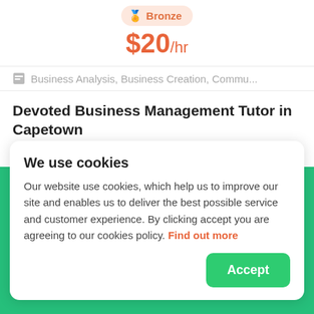Bronze
$20/hr
Business Analysis, Business Creation, Commu...
Devoted Business Management Tutor in Capetown
I am a young recent business management graduate with a 2.1 honors degree from Midlands State University with a background in sales,
We use cookies
Our website use cookies, which help us to improve our site and enables us to deliver the best possible service and customer experience. By clicking accept you are agreeing to our cookies policy. Find out more